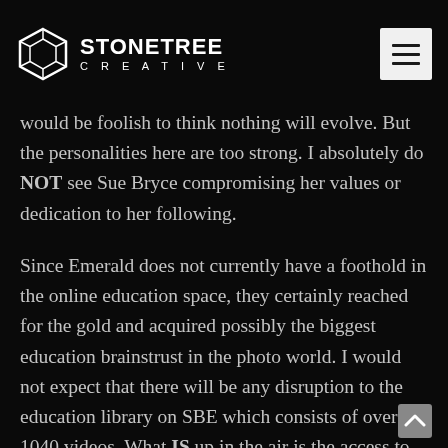STONETREE CREATIVE
would be foolish to think nothing will evolve. But the personalities here are too strong. I absolutely do NOT see Sue Bryce compromising her values or dedication to her following.
Since Emerald does not currently have a foothold in the online education space, they certainly reached for the gold and acquired possibly the biggest education brainstrust in the photo world. I would not expect that there will be any disruption to the education library on SBE which consists of over 1040 videos. What IS up in the air is the access to that library as the user base increases. Membership prices